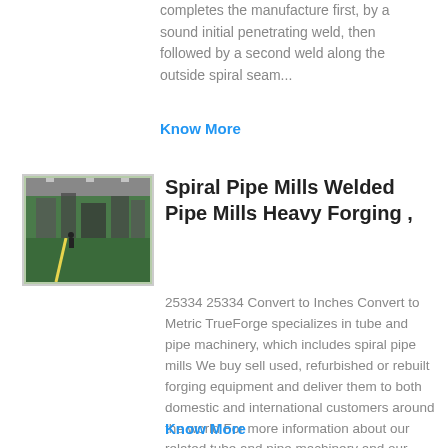completes the manufacture first, by a sound initial penetrating weld, then followed by a second weld along the outside spiral seam...
Know More
[Figure (photo): Interior of a spiral pipe mill factory floor with industrial equipment and green painted floor]
Spiral Pipe Mills Welded Pipe Mills Heavy Forging ,
25334 25334 Convert to Inches Convert to Metric TrueForge specializes in tube and pipe machinery, which includes spiral pipe mills We buy sell used, refurbished or rebuilt forging equipment and deliver them to both domestic and international customers around the world For more information about our related tube and pipe machinery and our ....
Know More
[Figure (photo): Industrial machinery equipment photo]
KOREA NEW USED SECOND